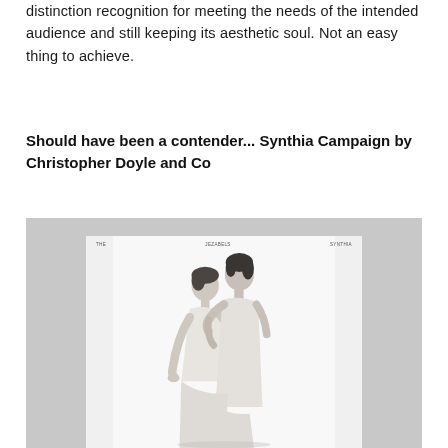distinction recognition for meeting the needs of the intended audience and still keeping its aesthetic soul. Not an easy thing to achieve.
Should have been a contender... Synthia Campaign by Christopher Doyle and Co
[Figure (photo): Black and white fashion photograph showing two women in white dresses posing together, one leaning on the other's back. The image appears to be from the Synthia Campaign by Christopher Doyle and Co, with small text reading 'THE JEZABELS SYNTHIA' at the top.]